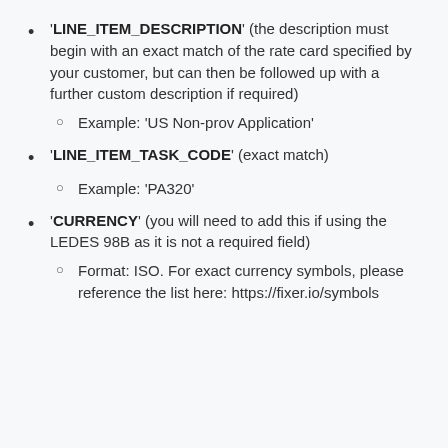'LINE_ITEM_DESCRIPTION' (the description must begin with an exact match of the rate card specified by your customer, but can then be followed up with a further custom description if required)
Example: 'US Non-prov Application'
'LINE_ITEM_TASK_CODE' (exact match)
Example: 'PA320'
'CURRENCY' (you will need to add this if using the LEDES 98B as it is not a required field)
Format: ISO. For exact currency symbols, please reference the list here: https://fixer.io/symbols